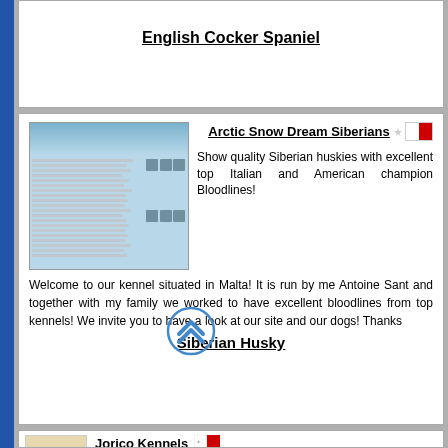English Cocker Spaniel
Arctic Snow Dream Siberians
[Figure (screenshot): Screenshot of the Arctic Snow Dream Siberians website showing a blue-toned header and dog photo thumbnails]
Show quality Siberian huskies with excellent top Italian and American champion Bloodlines!
Welcome to our kennel situated in Malta! It is run by me Antoine Sant and together with my family we worked to have excellent bloodlines from top kennels! We invite you to have a look at our site and our dogs! Thanks
Siberian Husky
Jorico Kennels